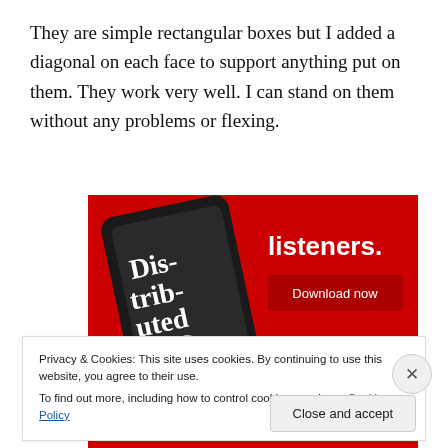They are simple rectangular boxes but I added a diagonal on each face to support anything put on them. They work very well. I can stand on them without any problems or flexing.
[Figure (screenshot): Advertisement screenshot showing a red background with a phone displaying a podcast app. Text reads 'Dis-tri-bu-ted' on the left and 'listeners.' with a 'Download now' button on the right.]
Privacy & Cookies: This site uses cookies. By continuing to use this website, you agree to their use.
To find out more, including how to control cookies, see here: Cookie Policy